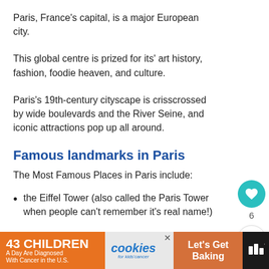Paris, France's capital, is a major European city.
This global centre is prized for its' art history, fashion, foodie heaven, and culture.
Paris's 19th-century cityscape is crisscrossed by wide boulevards and the River Seine, and iconic attractions pop up all around.
Famous landmarks in Paris
The Most Famous Places in Paris include:
the Eiffel Tower (also called the Paris Tower when people can't remember it's real name!)
[Figure (screenshot): Social media sidebar with heart button showing count 6 and share button]
[Figure (screenshot): What's Next card showing 'BEST OF THE PARIS...' with thumbnail image]
[Figure (screenshot): Advertisement banner: 43 Children A Day Are Diagnosed With Cancer in the U.S. / cookies for kids cancer / Let's Get Baking]